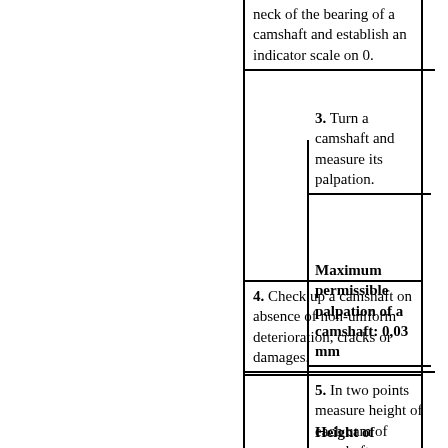neck of the bearing of a camshaft and establish an indicator scale on 0.
3. Turn a camshaft and measure its palpation.
Maximum permissible palpation of a camshaft: 0,03 mm
4. Check up a camshaft on absence of non-uniform deterioration, cracks or damages.
5. In two points measure height of each cam of camshafts.
Height of